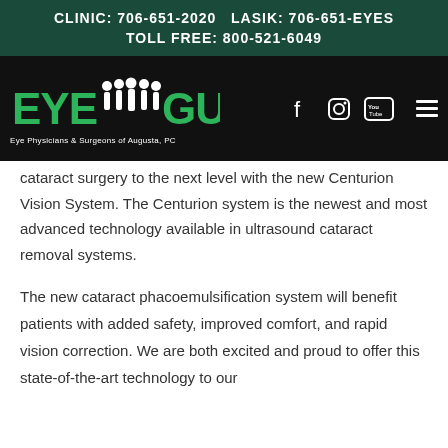CLINIC: 706-651-2020  LASIK: 706-651-EYES  TOLL FREE: 800-521-6049
[Figure (logo): Eye Guys logo — Eye Physicians & Surgeons of Augusta, PC — with social media icons (Facebook, Instagram, YouTube) and hamburger menu on black background]
cataract surgery to the next level with the new Centurion Vision System. The Centurion system is the newest and most advanced technology available in ultrasound cataract removal systems.
The new cataract phacoemulsification system will benefit patients with added safety, improved comfort, and rapid vision correction. We are both excited and proud to offer this state-of-the-art technology to our